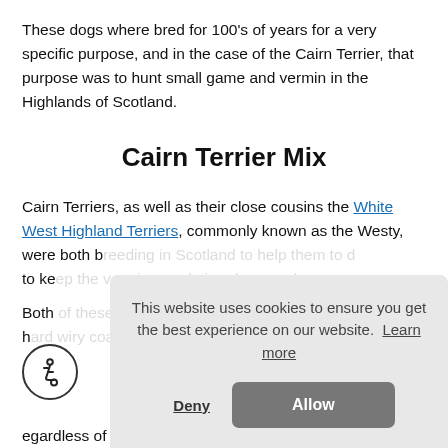These dogs where bred for 100's of years for a very specific purpose, and in the case of the Cairn Terrier, that purpose was to hunt small game and vermin in the Highlands of Scotland.
Cairn Terrier Mix
Cairn Terriers, as well as their close cousins the White West Highland Terriers, commonly known as the Westy, were both [text obscured] to ke[text obscured]
Both [text obscured] h[text obscured] a[text obscured]
egardless of how many legs it ha...
This website uses cookies to ensure you get the best experience on our website. Learn more